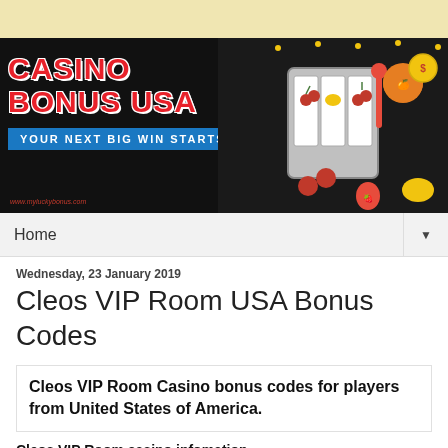[Figure (illustration): Casino Bonus USA banner with slot machine imagery, red text 'CASINO BONUS USA' and blue tagline 'YOUR NEXT BIG WIN STARTS HERE']
Home ▼
Wednesday, 23 January 2019
Cleos VIP Room USA Bonus Codes
Cleos VIP Room Casino bonus codes for players from United States of America.
Cleos VIP Room casino infomation
| Online since | 2012 |
| --- | --- |